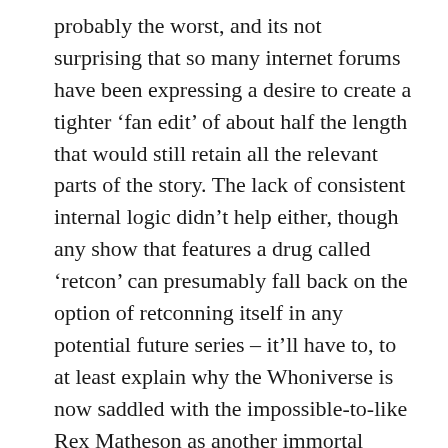probably the worst, and its not surprising that so many internet forums have been expressing a desire to create a tighter ‘fan edit’ of about half the length that would still retain all the relevant parts of the story. The lack of consistent internal logic didn’t help either, though any show that features a drug called ‘retcon’ can presumably fall back on the option of retconning itself in any potential future series – it’ll have to, to at least explain why the Whoniverse is now saddled with the impossible-to-like Rex Matheson as another immortal being. Given Russell’s stated disinterest in doing any more Torchwood, coupled with the generally lukewarm response to this one, I’d be surprised if we did see any